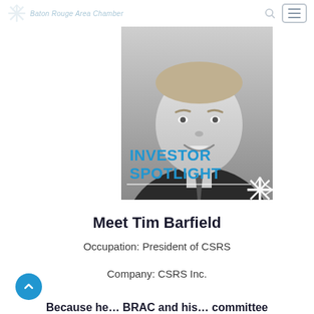Baton Rouge Area Chamber
[Figure (photo): Black and white professional headshot of Tim Barfield in a suit and tie, with 'INVESTOR SPOTLIGHT' text overlay in blue and a white starburst logo watermark in the bottom right corner.]
Meet Tim Barfield
Occupation: President of CSRS
Company: CSRS Inc.
Because he… BRAC and his… committee